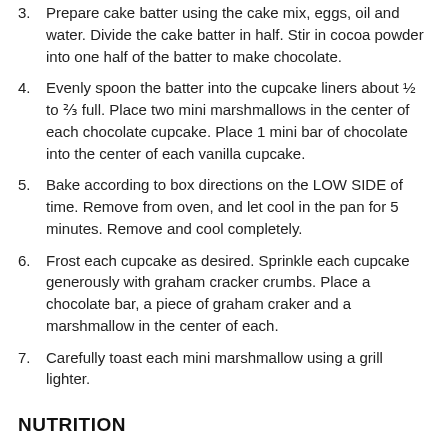3. Prepare cake batter using the cake mix, eggs, oil and water. Divide the cake batter in half. Stir in cocoa powder into one half of the batter to make chocolate.
4. Evenly spoon the batter into the cupcake liners about ½ to ⅔ full. Place two mini marshmallows in the center of each chocolate cupcake. Place 1 mini bar of chocolate into the center of each vanilla cupcake.
5. Bake according to box directions on the LOW SIDE of time. Remove from oven, and let cool in the pan for 5 minutes. Remove and cool completely.
6. Frost each cupcake as desired. Sprinkle each cupcake generously with graham cracker crumbs. Place a chocolate bar, a piece of graham craker and a marshmallow in the center of each.
7. Carefully toast each mini marshmallow using a grill lighter.
NUTRITION